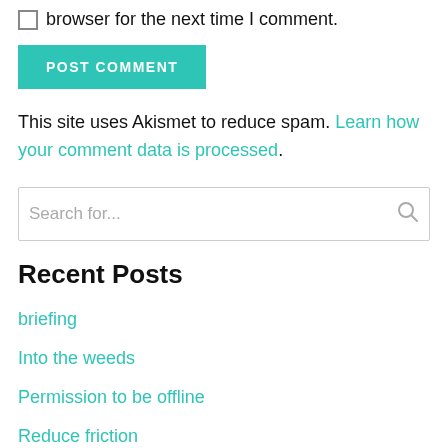browser for the next time I comment.
POST COMMENT
This site uses Akismet to reduce spam. Learn how your comment data is processed.
Search for...
Recent Posts
briefing
Into the weeds
Permission to be offline
Reduce friction